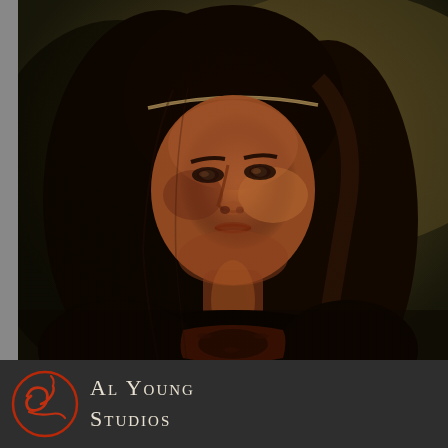[Figure (photo): Portrait painting of a young woman with long dark hair and a thin headband, looking slightly downward with a serious, contemplative expression. Her face is warmly lit from below/front with dramatic chiaroscuro lighting against a dark olive-brown background. She wears dark clothing with an ornate reddish-brown garment visible at the bottom. Renaissance-style portrait in the manner of classical painting.]
[Figure (logo): Al Young Studios logo: a red cursive monogram/signature mark (resembling stylized letters 'ay') inside a circular red outline, on a dark gray background.]
Al Young Studios